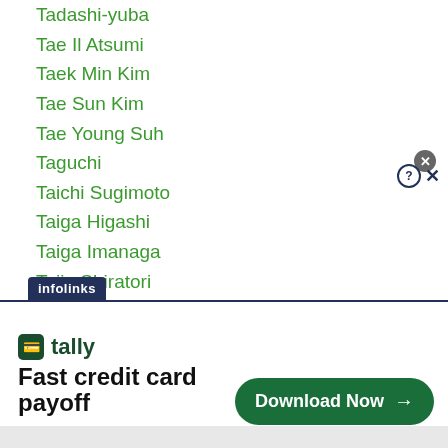Tadashi-yuba
Tae Il Atsumi
Taek Min Kim
Tae Sun Kim
Tae Young Suh
Taguchi
Taichi Sugimoto
Taiga Higashi
Taiga Imanaga
Taiju Shiratori
Taiki Eto
Taiki Minamoto
Taishan Dong
Taison Morishita
Taison Mukaiyama
Taiwan
[Figure (screenshot): Advertisement banner for Tally app: 'Fast credit card payoff' with Download Now button. Infolinks label at top. Close and help/x buttons visible.]